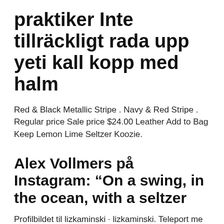praktiker Inte tillräckligt rada upp yeti kall kopp med halm
Red & Black Metallic Stripe . Navy & Red Stripe . Regular price Sale price $24.00 Leather Add to Bag Keep Lemon Lime Seltzer Koozie.
Alex Vollmers på Instagram: “On a swing, in the ocean, with a seltzer
Profilbildet til lizkaminski · lizkaminski. Teleport me there asap. Sip'ly The Best is the bi-weekly podcast